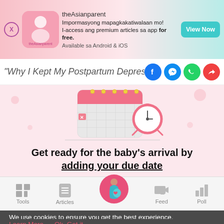[Figure (screenshot): Ad banner for theAsianparent app with logo, text in Filipino, and View Now button]
“Why I Kept My Postpartum Depressi…
[Figure (illustration): Pink background with calendar and alarm clock illustration]
Get ready for the baby’s arrival by adding your due date
[Figure (screenshot): Bottom navigation bar with Tools, Articles, center pregnancy icon, Feed, Poll]
We use cookies to ensure you get the best experience.
Learn More   Ok, Got it